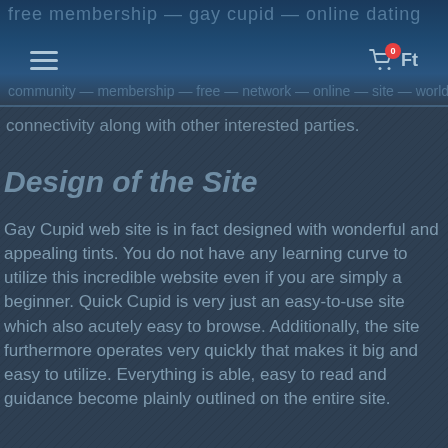Navigation header with hamburger menu and cart icon showing 0 Ft
connectivity along with other interested parties.
Design of the Site
Gay Cupid web site is in fact designed with wonderful and appealing tints. You do not have any learning curve to utilize this incredible website even if you are simply a beginner. Quick Cupid is very just an easy-to-use site which also acutely easy to browse. Additionally, the site furthermore operates very quickly that makes it big and easy to utilize. Everything is able, easy to read and guidance become plainly outlined on the entire site.